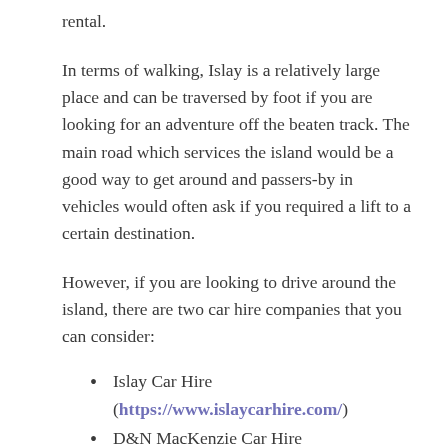rental.
In terms of walking, Islay is a relatively large place and can be traversed by foot if you are looking for an adventure off the beaten track. The main road which services the island would be a good way to get around and passers-by in vehicles would often ask if you required a lift to a certain destination.
However, if you are looking to drive around the island, there are two car hire companies that you can consider:
Islay Car Hire (https://www.islaycarhire.com/)
D&N MacKenzie Car Hire (http://www.carhireonislay.co.uk/)